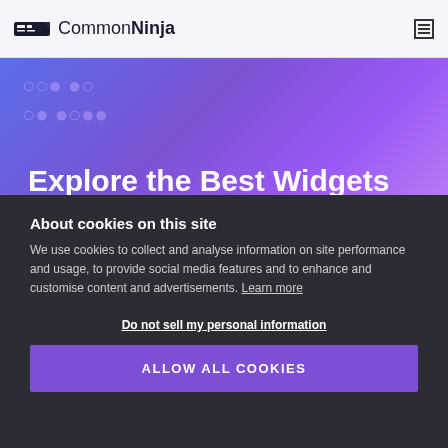Common Ninja
[Figure (illustration): CommonNinja website hero banner with gradient purple-blue background and partially visible large heading 'Explore the Best Widgets for Squarespace' with a faint watermark-style decorative text]
About cookies on this site
We use cookies to collect and analyse information on site performance and usage, to provide social media features and to enhance and customise content and advertisements. Learn more
Do not sell my personal information
ALLOW ALL COOKIES